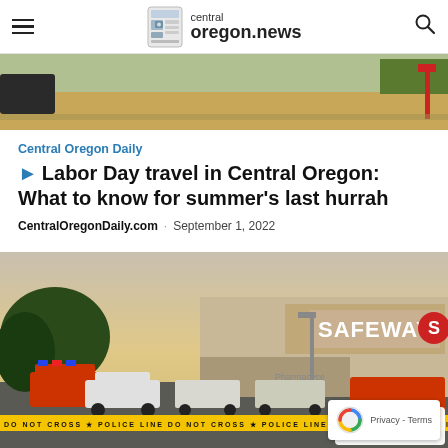central oregon.news
[Figure (photo): Outdoor scene with dry field and road, partial top of news article]
Central Oregon Daily
▶ Labor Day travel in Central Oregon: What to know for summer's last hurrah
CentralOregonDaily.com · September 1, 2022
[Figure (photo): Safeway store parking lot with police cars, emergency vehicles, and police line tape at dusk. The Safeway logo is visible on the building.]